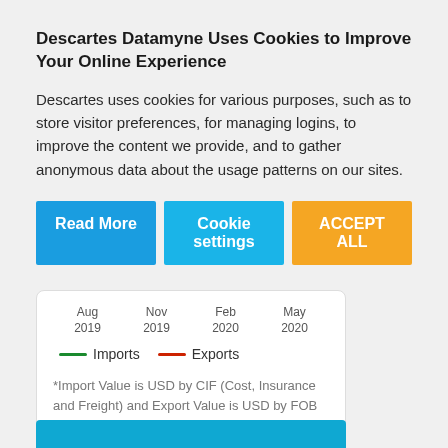Descartes Datamyne Uses Cookies to Improve Your Online Experience
Descartes uses cookies for various purposes, such as to store visitor preferences, for managing logins, to improve the content we provide, and to gather anonymous data about the usage patterns on our sites.
Read More | Cookie settings | ACCEPT ALL
Aug 2019   Nov 2019   Feb 2020   May 2020
Imports   Exports
*Import Value is USD by CIF (Cost, Insurance and Freight) and Export Value is USD by FOB (Free on Board).